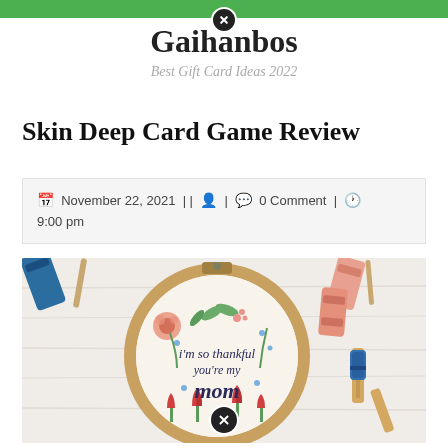Gaihanbos — Best Gift Card Ideas 2022
Skin Deep Card Game Review
November 22, 2021 | | [author icon] | [comment icon] 0 Comment | [clock icon] 9:00 pm
[Figure (photo): An embroidery hoop with floral designs and the text 'i'm so thankful you're my mom' stitched in the center, surrounded by colorful thread spools and clothespins on a white wooden surface.]